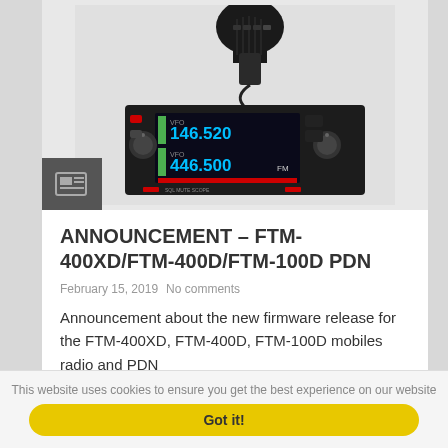[Figure (photo): Yaesu FTM-400XD dual-band mobile radio transceiver with handheld microphone, showing 146.520 and 446.500 MHz on display]
ANNOUNCEMENT – FTM-400XD/FTM-400D/FTM-100D PDN
February 15, 2019   No comments
Announcement about the new firmware release for the FTM-400XD, FTM-400D, FTM-100D mobiles radio and PDN
This website uses cookies to ensure you get the best experience on our website
Got it!